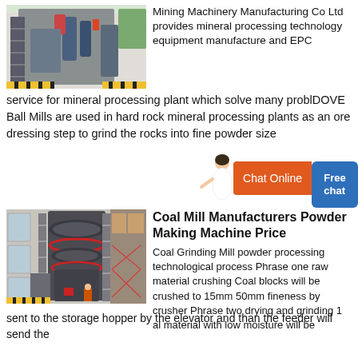[Figure (photo): Industrial mineral processing machine/ball mill equipment in a factory setting with metal scaffolding]
Mining Machinery Manufacturing Co Ltd provides mineral processing technology equipment manufacture and EPC service for mineral processing plant which solve many problDOVE Ball Mills are used in hard rock mineral processing plants as an ore dressing step to grind the rocks into fine powder size
[Figure (screenshot): Chat Online button (orange) and Free chat button (blue)]
[Figure (photo): Large industrial coal grinding mill/powder making machine inside a factory with scaffolding and stairs]
Coal Mill Manufacturers Powder Making Machine Price
Coal Grinding Mill powder processing technological process Phrase one raw material crushing Coal blocks will be crushed to 15mm 50mm fineness by crusher Phrase two drying and grinding 1 al material with low moisture will be sent to the storage hopper by the elevator and than the feeder will send the